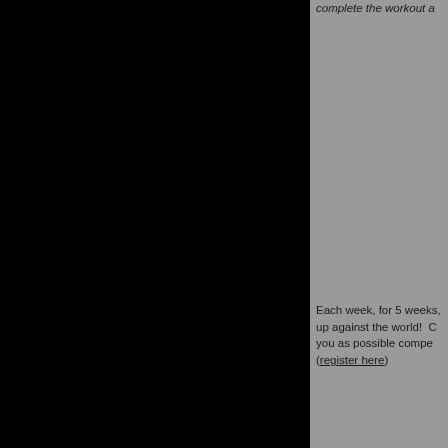[Figure (photo): Large black rectangular area occupying the left two-thirds of the page]
complete the workout a
Each week, for 5 weeks, up against the world!  C you as possible compete (register here)